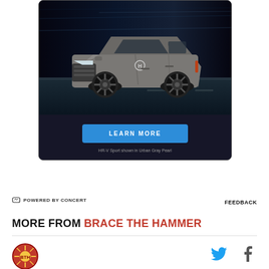[Figure (photo): Honda HR-V Sport SUV advertisement showing the car in Urban Gray Pearl color on a dark background with a 'LEARN MORE' button and disclaimer text 'HR-V Sport shown in Urban Gray Pearl']
POWERED BY CONCERT
FEEDBACK
MORE FROM BRACE THE HAMMER
[Figure (logo): Brace The Hammer circular logo with sun/rays design in red and gold]
[Figure (logo): Twitter bird icon in blue]
[Figure (logo): Facebook f icon in gray]